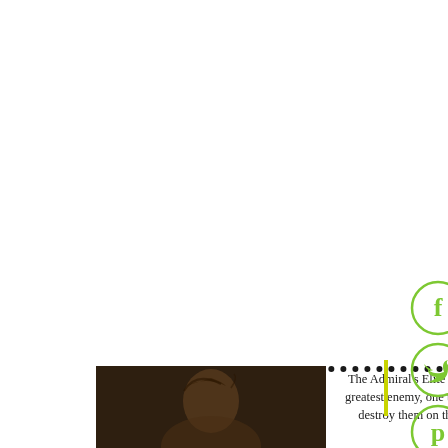[Figure (illustration): Four circular social media share buttons with green outlines and green icons: Facebook (f), Twitter (bird), Pinterest (P), Tumblr (t), StumbleUpon (su). Arranged vertically on the right side of the page.]
[Figure (photo): Sepia-toned photograph of a person with braided/twisted hair, shown from behind/side angle against a dark brown background.]
The Admiral's Elite are facing their greatest enemy, one that threatens to destroy them on their own soil.